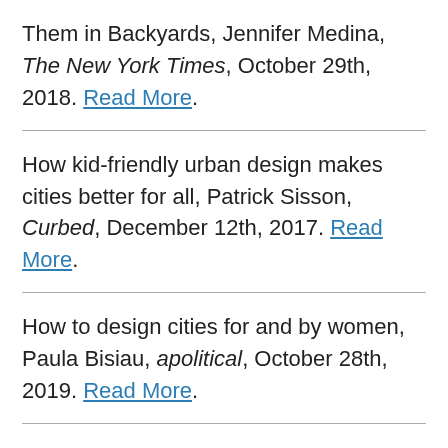Them in Backyards, Jennifer Medina, The New York Times, October 29th, 2018. Read More.
How kid-friendly urban design makes cities better for all, Patrick Sisson, Curbed, December 12th, 2017. Read More.
How to design cities for and by women, Paula Bisiau, apolitical, October 28th, 2019. Read More.
The Curb-Cut Effect, Angela Glover Blackwell, Stanford Social Innovation